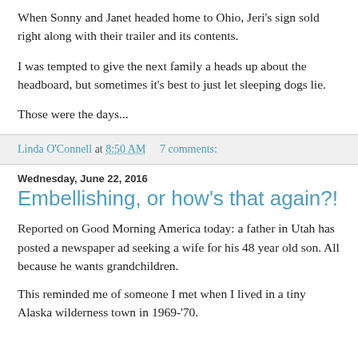When Sonny and Janet headed home to Ohio, Jeri's sign sold right along with their trailer and its contents.
I was tempted to give the next family a heads up about the headboard, but sometimes it's best to just let sleeping dogs lie.
Those were the days...
Linda O'Connell at 8:50 AM   7 comments:
Wednesday, June 22, 2016
Embellishing, or how's that again?!
Reported on Good Morning America today: a father in Utah has posted a newspaper ad seeking a wife for his 48 year old son. All because he wants grandchildren.
This reminded me of someone I met when I lived in a tiny Alaska wilderness town in 1969-'70.